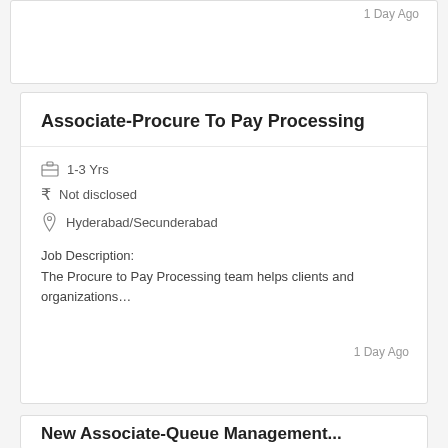1 Day Ago
Associate-Procure To Pay Processing
1-3 Yrs
Not disclosed
Hyderabad/Secunderabad
Job Description:
The Procure to Pay Processing team helps clients and organizations…
1 Day Ago
New Associate-Queue Management...